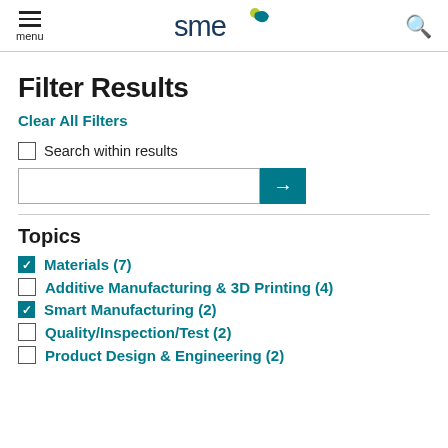menu | SME logo | search
Filter Results
Clear All Filters
Search within results
Topics
Materials (7) [checked]
Additive Manufacturing & 3D Printing (4) [unchecked]
Smart Manufacturing (2) [checked]
Quality/Inspection/Test (2) [unchecked]
Product Design & Engineering (2) [unchecked]